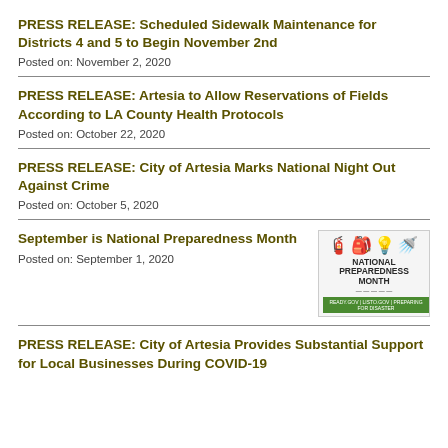PRESS RELEASE: Scheduled Sidewalk Maintenance for Districts 4 and 5 to Begin November 2nd
Posted on: November 2, 2020
PRESS RELEASE: Artesia to Allow Reservations of Fields According to LA County Health Protocols
Posted on: October 22, 2020
PRESS RELEASE: City of Artesia Marks National Night Out Against Crime
Posted on: October 5, 2020
September is National Preparedness Month
Posted on: September 1, 2020
[Figure (illustration): National Preparedness Month logo with icons of emergency supplies and bold green text reading NATIONAL PREPAREDNESS MONTH]
PRESS RELEASE: City of Artesia Provides Substantial Support for Local Businesses During COVID-19